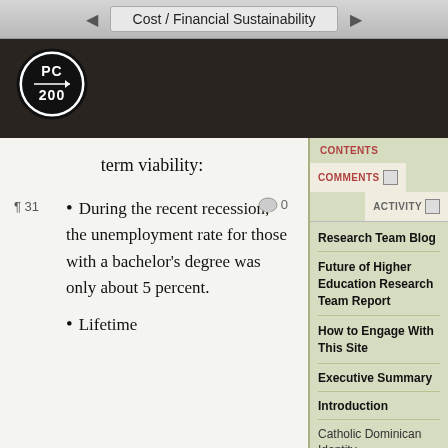Cost / Financial Sustainability
[Figure (logo): PC 200 logo — circular black and white logo with text PC 200 and an arrow]
term viability:
During the recent recession, the unemployment rate for those with a bachelor's degree was only about 5 percent.
Lifetime
Research Team Blog
Future of Higher Education Research Team Report
How to Engage With This Site
Executive Summary
Introduction
Catholic Dominican Identity
Culture of Diversity, Equity, and Inclusion
Student Development